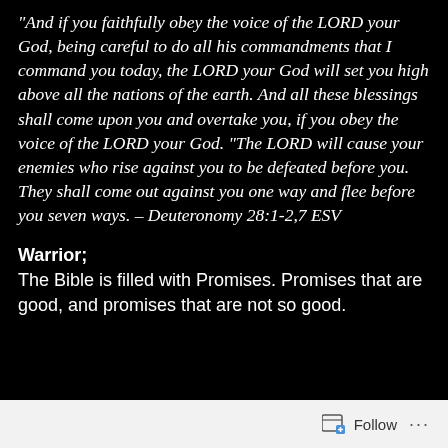“And if you faithfully obey the voice of the LORD your God, being careful to do all his commandments that I command you today, the LORD your God will set you high above all the nations of the earth. And all these blessings shall come upon you and overtake you, if you obey the voice of the LORD your God. “The LORD will cause your enemies who rise against you to be defeated before you. They shall come out against you one way and flee before you seven ways. – Deuteronomy 28:1-2,7 ESV
Warrior; The Bible is filled with Promises. Promises that are good, and promises that are not so good.
[Figure (other): Follow button with icon in white/gray footer bar]